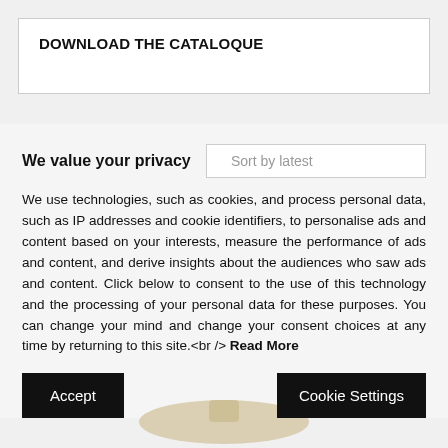DOWNLOAD THE CATALOQUE
We value your privacy
We use technologies, such as cookies, and process personal data, such as IP addresses and cookie identifiers, to personalise ads and content based on your interests, measure the performance of ads and content, and derive insights about the audiences who saw ads and content. Click below to consent to the use of this technology and the processing of your personal data for these purposes. You can change your mind and change your consent choices at any time by returning to this site.<br /> Read More
Accept
Cookie Settings